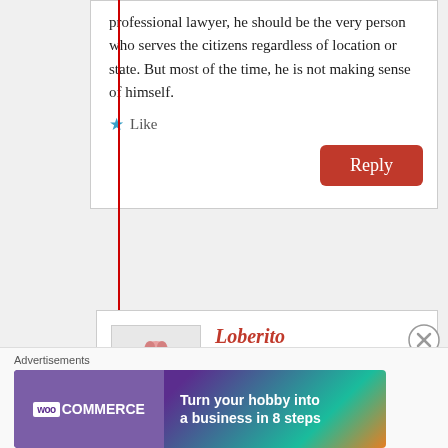professional lawyer, he should be the very person who serves the citizens regardless of location or state. But most of the time, he is not making sense of himself.
Like
Reply
[Figure (illustration): Avatar of a blue cartoon bird character with a brain on top, wearing no clothes, standing on green legs]
Loberito
June 1, 2015 at 2:43 pm
Lomude,
Advertisements
[Figure (other): WooCommerce advertisement banner: Turn your hobby into a business in 8 steps]